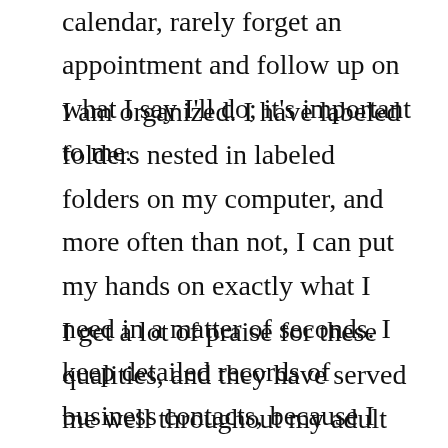calendar, rarely forget an appointment and follow up on what I say I'll do; it's important to me.
I am organized. I have labeled folders nested in labeled folders on my computer, and more often than not, I can put my hands on exactly what I need in a matter of seconds. I keep detailed records of business contacts, because I want to remember what we talked about on the phone, even if I don't hear from you again for six months.
I get a lot of praise for these qualities, and they have served me well throughout my adult life, both in business and personally — certainly with my kids. BUT (there's always a but) there's a downside to being a detail-oriented person. Sometimes I get bogged down in these details, let them stress me out and forget the